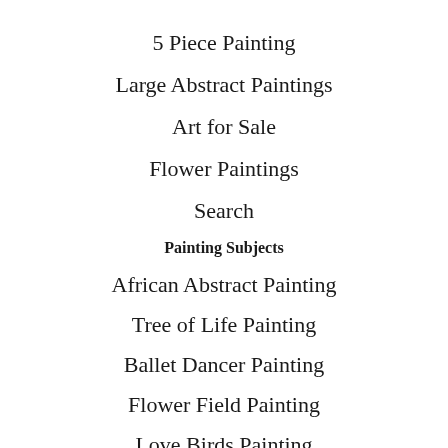5 Piece Painting
Large Abstract Paintings
Art for Sale
Flower Paintings
Search
Painting Subjects
African Abstract Painting
Tree of Life Painting
Ballet Dancer Painting
Flower Field Painting
Love Birds Painting
Seashore Painting
Mediterranean Sea Painting
Boats and Ships Painting